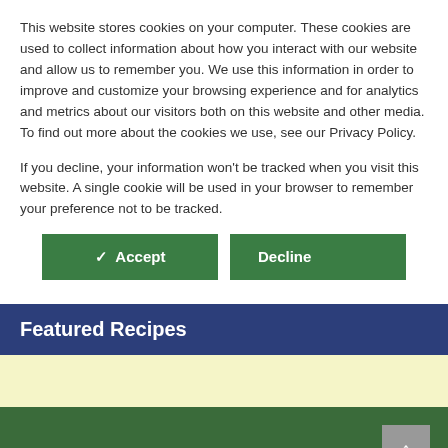This website stores cookies on your computer. These cookies are used to collect information about how you interact with our website and allow us to remember you. We use this information in order to improve and customize your browsing experience and for analytics and metrics about our visitors both on this website and other media. To find out more about the cookies we use, see our Privacy Policy.
If you decline, your information won't be tracked when you visit this website. A single cookie will be used in your browser to remember your preference not to be tracked.
✓ Accept | Decline
Featured Recipes
John Scheepers Kitchen Garden Seeds™